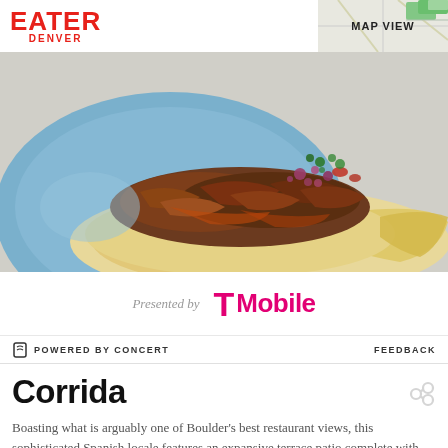EATER DENVER
[Figure (photo): Close-up photo of a taco with shredded meat, diced red onion, cilantro, and tomato on a corn tortilla, served on a blue plate against a light gray background.]
Presented by T-Mobile
POWERED BY CONCERT   FEEDBACK
Corrida
Boasting what is arguably one of Boulder's best restaurant views, this sophisticated Spanish locale features an expansive terrace patio complete with